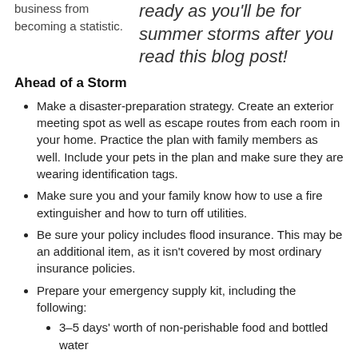business from becoming a statistic.
ready as you'll be for summer storms after you read this blog post!
Ahead of a Storm
Make a disaster-preparation strategy. Create an exterior meeting spot as well as escape routes from each room in your home. Practice the plan with family members as well. Include your pets in the plan and make sure they are wearing identification tags.
Make sure you and your family know how to use a fire extinguisher and how to turn off utilities.
Be sure your policy includes flood insurance. This may be an additional item, as it isn't covered by most ordinary insurance policies.
Prepare your emergency supply kit, including the following:
3–5 days' worth of non-perishable food and bottled water
Scissors, tweezers, cloth tape, antibiotic ointment, adhesive bandages, non-latex gloves, and other items